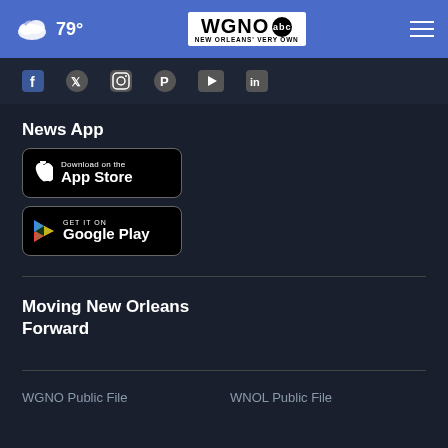79° WGNO ABC NEW ORLEANS' VERY OWN
[Figure (other): Social media icons row (Facebook, Twitter/X, Instagram, Pinterest, YouTube, LinkedIn)]
News App
[Figure (other): Download on the App Store button]
[Figure (other): GET IT ON Google Play button]
Moving New Orleans Forward
WGNO Public File
WNOL Public File